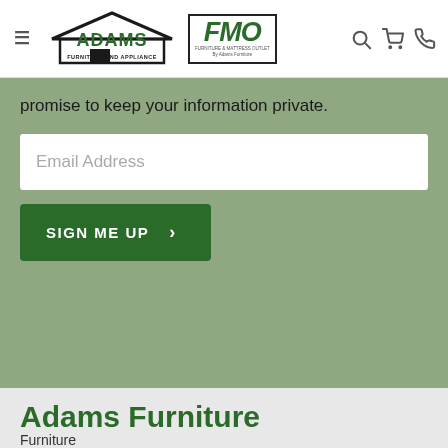[Figure (logo): Adams Furniture and Appliance logo with house icon and FMO box]
promise to keep your information private.
Email Address
SIGN ME UP
Adams Furniture
Furniture
Mattresses